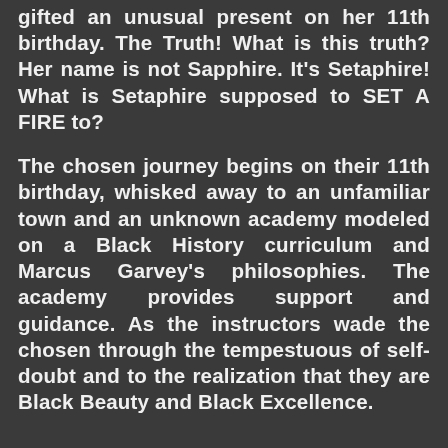gifted an unusual present on her 11th birthday. The Truth! What is this truth? Her name is not Sapphire. It's Setaphire! What is Setaphire supposed to SET A FIRE to?
The chosen journey begins on their 11th birthday, whisked away to an unfamiliar town and an unknown academy modeled on a Black History curriculum and Marcus Garvey's philosophies. The academy provides support and guidance. As the instructors wade the chosen through the tempestuous of self-doubt and to the realization that they are Black Beauty and Black Excellence.